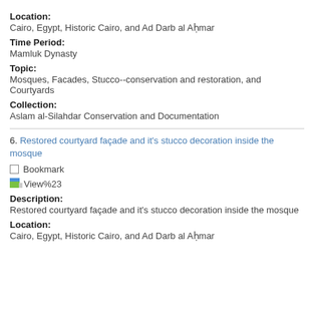Location:
Cairo, Egypt, Historic Cairo, and Ad Darb al Aḥmar
Time Period:
Mamluk Dynasty
Topic:
Mosques, Facades, Stucco--conservation and restoration, and Courtyards
Collection:
Aslam al-Silahdar Conservation and Documentation
6. Restored courtyard façade and it's stucco decoration inside the mosque
Bookmark
View%23
Description:
Restored courtyard façade and it's stucco decoration inside the mosque
Location:
Cairo, Egypt, Historic Cairo, and Ad Darb al Aḥmar